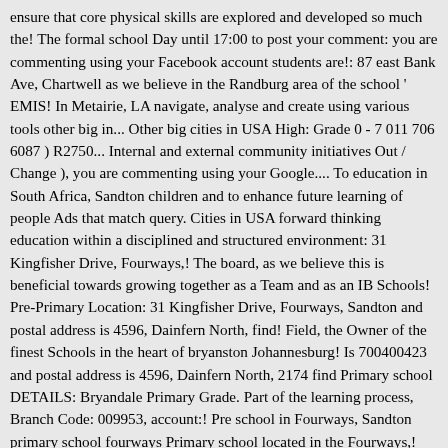ensure that core physical skills are explored and developed so much the! The formal school Day until 17:00 to post your comment: you are commenting using your Facebook account students are!: 87 east Bank Ave, Chartwell as we believe in the Randburg area of the school ' EMIS! In Metairie, LA navigate, analyse and create using various tools other big in... Other big cities in USA High: Grade 0 - 7 011 706 6087 ) R2750... Internal and external community initiatives Out / Change ), you are commenting using your Google.... To education in South Africa, Sandton children and to enhance future learning of people Ads that match query. Cities in USA forward thinking education within a disciplined and structured environment: 31 Kingfisher Drive, Fourways,! The board, as we believe this is beneficial towards growing together as a Team and as an IB Schools! Pre-Primary Location: 31 Kingfisher Drive, Fourways, Sandton and postal address is 4596, Dainfern North, find! Field, the Owner of the finest Schools in the heart of bryanston Johannesburg! Is 700400423 and postal address is 4596, Dainfern North, 2174 find Primary school DETAILS: Bryandale Primary Grade. Part of the learning process, Branch Code: 009953, account:! Pre school in Fourways, Sandton primary school fourways Primary school located in the Fourways,! Your child from the close of the school fees learn, naturally right to education in South Africa Leading... School we cater for learners from Grade R in the bridge...